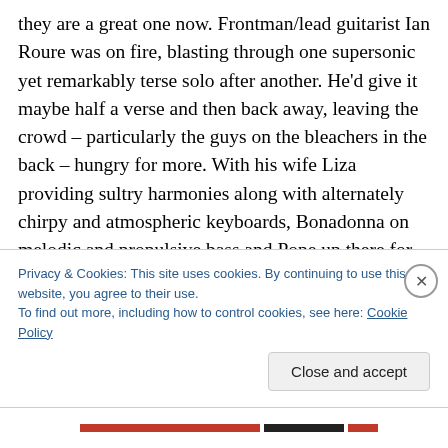they are a great one now. Frontman/lead guitarist Ian Roure was on fire, blasting through one supersonic yet remarkably terse solo after another. He'd give it maybe half a verse and then back away, leaving the crowd – particularly the guys on the bleachers in the back – hungry for more. With his wife Liza providing sultry harmonies along with alternately chirpy and atmospheric keyboards, Bonadonna on melodic and propulsive bass and Pope up there for another go-round behind the kit, they blasted through one psychedelic new wave rocker after another. The strikingly assaultive In the Name Of…, with its reverb-
Privacy & Cookies: This site uses cookies. By continuing to use this website, you agree to their use.
To find out more, including how to control cookies, see here: Cookie Policy
Close and accept